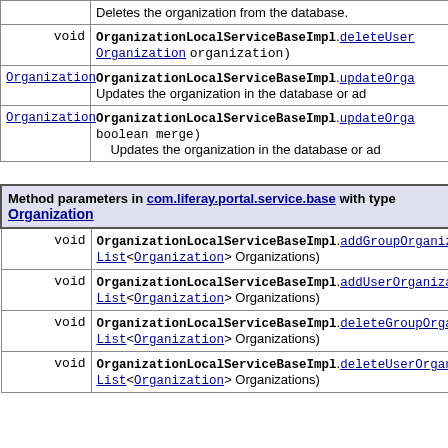| Type | Method and Description |
| --- | --- |
|  | Deletes the organization from the database. |
| void | OrganizationLocalServiceBaseImpl.deleteUser Organization organization)
Deletes the user organization. |
| Organization | OrganizationLocalServiceBaseImpl.updateOrga...
Updates the organization in the database or ad... |
| Organization | OrganizationLocalServiceBaseImpl.updateOrga...
boolean merge)
Updates the organization in the database or ad... |
| Type | Method and Description |
| --- | --- |
|  | Method parameters in com.liferay.portal.service.base with type Organization |
| void | OrganizationLocalServiceBaseImpl.addGroupOrganizat...
List<Organization> Organizations) |
| void | OrganizationLocalServiceBaseImpl.addUserOrganizati...
List<Organization> Organizations) |
| void | OrganizationLocalServiceBaseImpl.deleteGroupOrgani...
List<Organization> Organizations) |
| void | OrganizationLocalServiceBaseImpl.deleteUserOrganiz...
List<Organization> Organizations) |